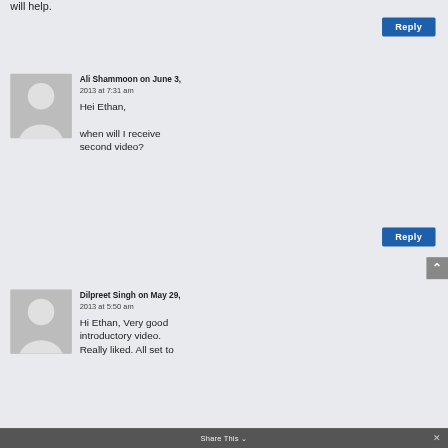will help.
Reply
Ali Shammoon on June 3, 2013 at 7:31 am
Hei Ethan,
when will I receive second video?
Reply
Dilpreet Singh on May 29, 2013 at 5:50 am
Hi Ethan, Very good introductory video. Really liked. All set to
Share This ×